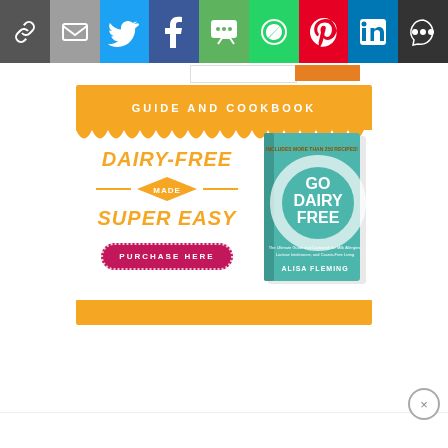[Figure (screenshot): Social media share bar with icons: link, email, Twitter, Facebook, SMS, WhatsApp, Pinterest, LinkedIn, and More]
[Figure (infographic): Advertisement for 'Go Dairy Free' book by Alisa Fleming. Yellow banner reads 'GUIDE AND COOKBOOK'. Left side has italic orange text: 'DAIRY-FREE', diamond badge 'MADE', 'SUPER EASY', and a pink rounded button 'PURCHASE HERE'. Right side shows book cover with teal background, white splash circle, 'GO DAIRY FREE' title, 'ALISA FLEMING' author, and 'INCLUDES MORE THAN 250 RECIPES!' text.]